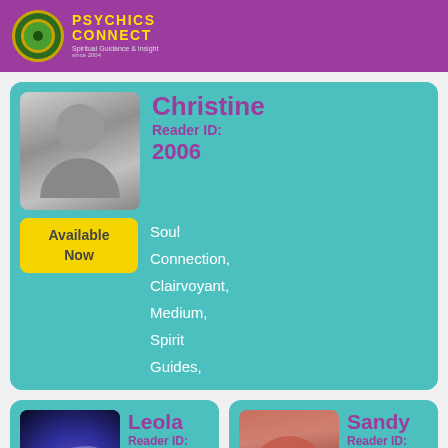[Figure (logo): Psychics Connect logo with green circular emblem and yellow text on purple background]
[Figure (photo): Christine - black and white photo of a woman]
Christine
Reader ID: 2006
Available Now
Soul Connection, Clairvoyant, Medium, Spirit Guides,
[Figure (photo): Leola - abstract light/space image]
Leola
Reader ID: 8626
Available Now
Tarot, Soul Connection, Clairvoyant,
[Figure (photo): Sandy - woman with red hair and glasses]
Sandy
Reader ID: 8795
Available Now
Tarot, Soul Connection, Clairvoyant,